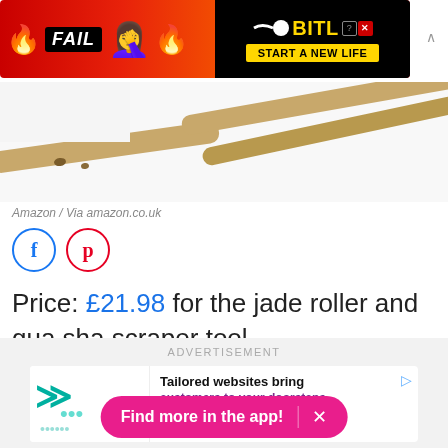[Figure (screenshot): BitLife mobile game advertisement banner with FAIL text, cartoon character, and START A NEW LIFE button]
[Figure (photo): Product photo of jade roller and gua sha scraper tools on white background]
Amazon / Via amazon.co.uk
Price: £21.98 for the jade roller and gua sha scraper tool.
[Figure (screenshot): Bottom advertisement section with 'Tailored websites bring customers to your doorsteps.' ad and 'Find more in the app!' pink banner overlay]